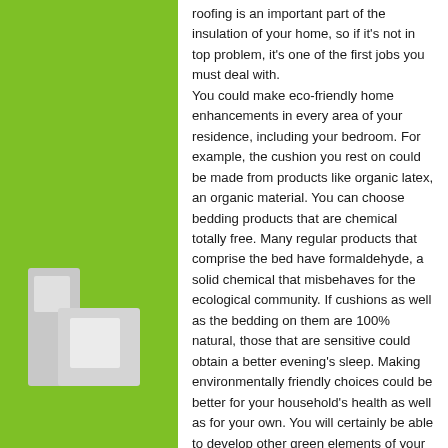roofing is an important part of the insulation of your home, so if it's not in top problem, it's one of the first jobs you must deal with. You could make eco-friendly home enhancements in every area of your residence, including your bedroom. For example, the cushion you rest on could be made from products like organic latex, an organic material. You can choose bedding products that are chemical totally free. Many regular products that comprise the bed have formaldehyde, a solid chemical that misbehaves for the ecological community. If cushions as well as the bedding on them are 100% natural, those that are sensitive could obtain a better evening's sleep. Making environmentally friendly choices could be better for your household's health as well as for your own. You will certainly be able to develop other green elements of your room, every little thing from your pain to your floors. Doing a green transformation for your home can be enjoyable as well as good for your power expenses. The economic well worth is greater if marketing it is something you are examination